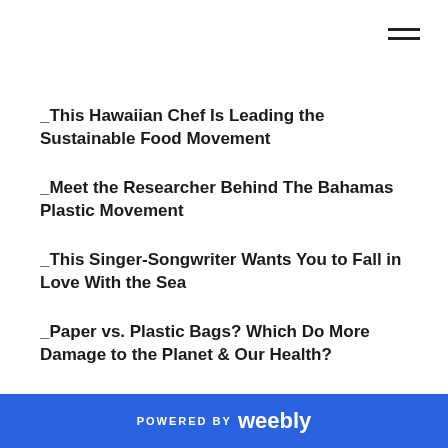_This Hawaiian Chef Is Leading the Sustainable Food Movement
_Meet the Researcher Behind The Bahamas Plastic Movement
_This Singer-Songwriter Wants You to Fall in Love With the Sea
_Paper vs. Plastic Bags? Which Do More Damage to the Planet & Our Health?
Health & Wellness
_The Obesity_Chronic Disease Connection: a Special Report
_Helping Kids Cope With MS
POWERED BY weebly